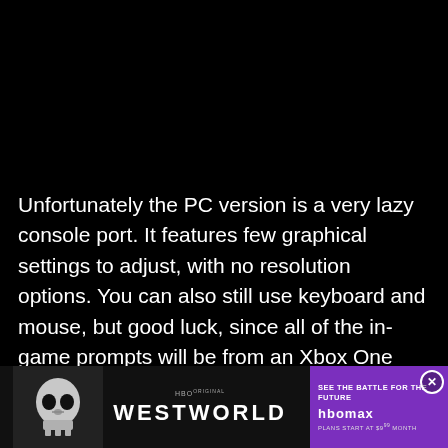[Figure (screenshot): Black video/image area taking up the top portion of the page]
Unfortunately the PC version is a very lazy console port. It features few graphical settings to adjust, with no resolution options. You can also still use keyboard and mouse, but good luck, since all of the in-game prompts will be from an Xbox One controller. Funny enough, despite this, at times the tutorial displayed controls from a PlayStation 4 cont[roller] ... poin[t] ... er
[Figure (advertisement): Westworld HBO Max advertisement banner overlaying bottom of page with skull imagery, Westworld logo text, and purple HBO Max branding with sign up now button]